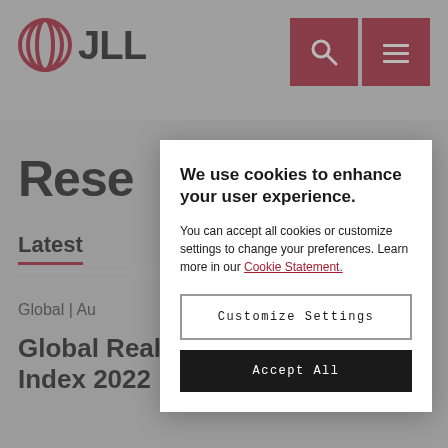[Figure (logo): JLL logo with circular globe icon and bold JLL text in black, top left of navigation bar]
[Figure (screenshot): Two red square navigation icon buttons (search magnifier and hamburger menu) in top right corner]
Rese
Latest ... Industri
Global | Au
Global Real Estate Transparency Index 2022
We use cookies to enhance your user experience.
You can accept all cookies or customize settings to change your preferences. Learn more in our Cookie Statement.
Customize Settings
Accept All